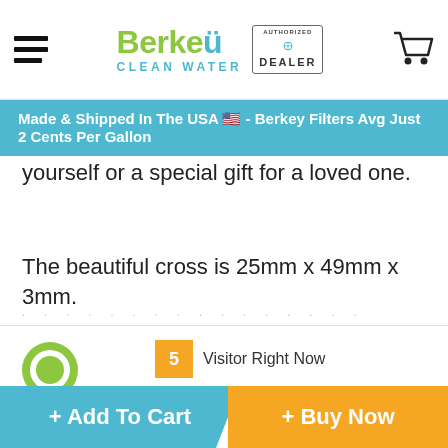Berkey Clean Water — Authorized Dealer — navigation header
Made & Shipped In The USA 🇺🇸 - Berkey Filters Avg Just 2 Cents Per Gallon
yourself or a special gift for a loved one.
The beautiful cross is 25mm x 49mm x 3mm.
Shipping
Reviews
5 Visitor Right Now
+ Add To Cart
+ Buy Now